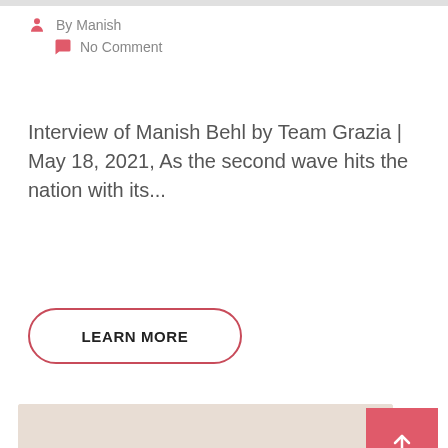By Manish
No Comment
Interview of Manish Behl by Team Grazia | May 18, 2021, As the second wave hits the nation with its...
LEARN MORE
[Figure (illustration): Illustration of a brain surrounded by colorful flowers, leaves, gears and decorative elements on a beige background]